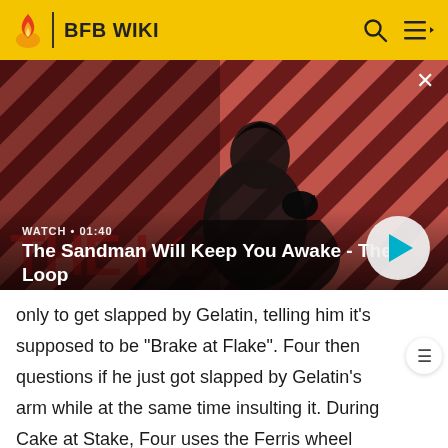BFB WIKI
[Figure (screenshot): Video thumbnail for 'The Sandman Will Keep You Awake - The Loop'. Shows a dark-cloaked figure with a raven on their shoulder against a red and dark diagonal striped background. Overlay shows WATCH • 01:40 and the video title. A circular play button is visible on the right.]
only to get slapped by Gelatin, telling him it's supposed to be "Brake at Flake". Four then questions if he just got slapped by Gelatin's arm while at the same time insulting it. During Cake at Stake, Four uses the Ferris wheel stand dispenser to drop either water or lava on the safe contestants. For the challenge, Four is told by a whisper